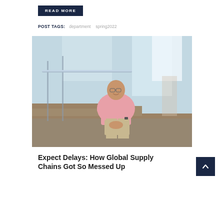READ MORE
POST TAGS:  department  spring2022
[Figure (photo): A man in a pink shirt sitting on stairs with glass railings in a modern building interior, smiling at the camera.]
Expect Delays: How Global Supply Chains Got So Messed Up